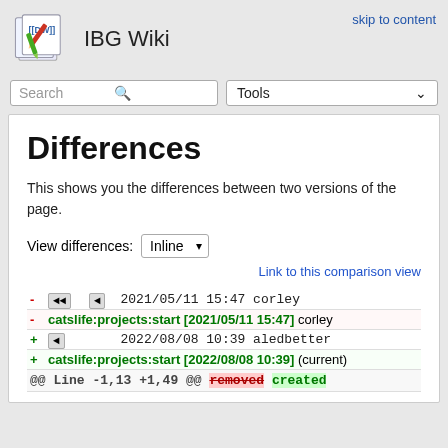IBG Wiki
Differences
This shows you the differences between two versions of the page.
View differences: Inline
Link to this comparison view
| - | ◄◄ | ◄ | 2021/05/11 15:47 corley |
| -catslife:projects:start [2021/05/11 15:47] | corley |
| + | ◄ | 2022/08/08 10:39 aledbetter |
| +catslife:projects:start [2022/08/08 10:39] | (current) |
| @@ Line -1,13 +1,49 @@ removed created |